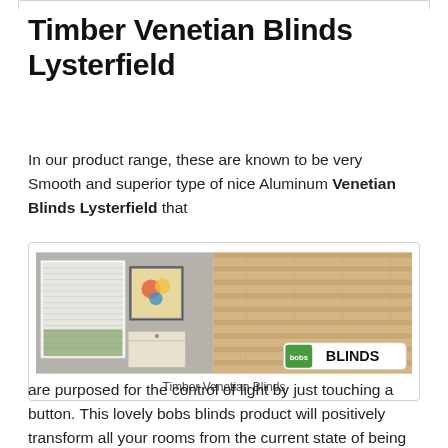Timber Venetian Blinds Lysterfield
In our product range, these are known to be very Smooth and superior type of nice Aluminum Venetian Blinds Lysterfield that
[Figure (photo): Photo of Timber Venetian Blinds showing wooden horizontal slat blinds in a room setting with a Bobs Blinds logo watermark in the bottom right corner.]
Timber Venetian Blinds
are purposed for the control of light by just touching a button. This lovely bobs blinds product will positively transform all your rooms from the current state of being